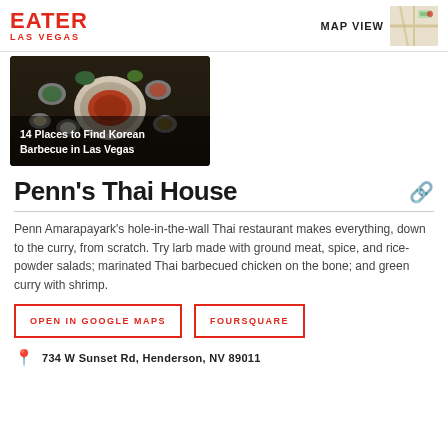EATER LAS VEGAS
[Figure (map): Small map thumbnail in upper right corner]
[Figure (photo): Korean barbecue spread with meat and side dishes on dark table]
14 Places to Find Korean Barbecue in Las Vegas
Penn's Thai House
Penn Amarapayark's hole-in-the-wall Thai restaurant makes everything, down to the curry, from scratch. Try larb made with ground meat, spice, and rice-powder salads; marinated Thai barbecued chicken on the bone; and green curry with shrimp.
OPEN IN GOOGLE MAPS
FOURSQUARE
734 W Sunset Rd, Henderson, NV 89011